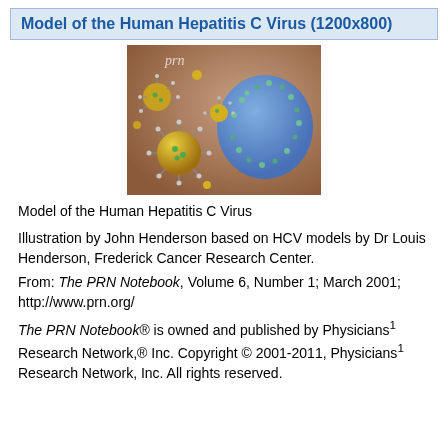Model of the Human Hepatitis C Virus (1200x800)
[Figure (illustration): Scientific illustration of Hepatitis C virus particles (yellow/green spiky spheres) approaching a large blue cell, with 'prn' watermark, on a brownish-pink background.]
Model of the Human Hepatitis C Virus
Illustration by John Henderson based on HCV models by Dr Louis Henderson, Frederick Cancer Research Center.
From: The PRN Notebook, Volume 6, Number 1; March 2001; http://www.prn.org/
The PRN Notebook® is owned and published by Physicians¹ Research Network,® Inc. Copyright © 2001-2011, Physicians¹ Research Network, Inc. All rights reserved.